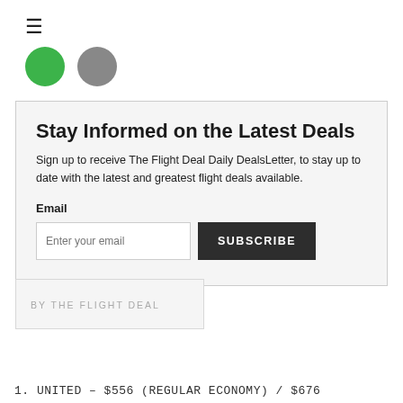≡
[Figure (illustration): Two circular icons side by side: one green circle and one gray circle, partially cropped at top of page.]
Stay Informed on the Latest Deals
Sign up to receive The Flight Deal Daily DealsLetter, to stay up to date with the latest and greatest flight deals available.
Email
Enter your email  SUBSCRIBE
BY THE FLIGHT DEAL
1. UNITED – $556 (REGULAR ECONOMY) / $676